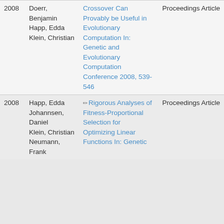| Year | Authors | Title | Type |
| --- | --- | --- | --- |
| 2008 | Doerr, Benjamin
Happ, Edda
Klein, Christian | Crossover Can Provably be Useful in Evolutionary Computation In: Genetic and Evolutionary Computation Conference 2008, 539-546 | Proceedings Article |
| 2008 | Happ, Edda
Johannsen, Daniel
Klein, Christian
Neumann, Frank | Rigorous Analyses of Fitness-Proportional Selection for Optimizing Linear Functions In: Genetic ... | Proceedings Article |